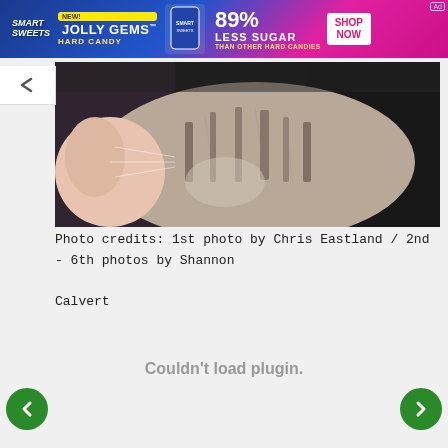[Figure (infographic): SmartSweets advertisement banner for Jolly Gems Hard Candy, showing '89% Less Sugar than other hard candies' and a 'Shop Now' button]
[Figure (photo): Close-up photograph of a tabby kitten being held, showing striped fur pattern against a dark background]
Photo credits: 1st photo by Chris Eastland / 2nd - 6th photos by Shannon Calvert
Couldn't load plugin.
[Figure (other): Green circle navigation arrow pointing left (back)]
[Figure (other): Green circle navigation arrow pointing right (forward)]